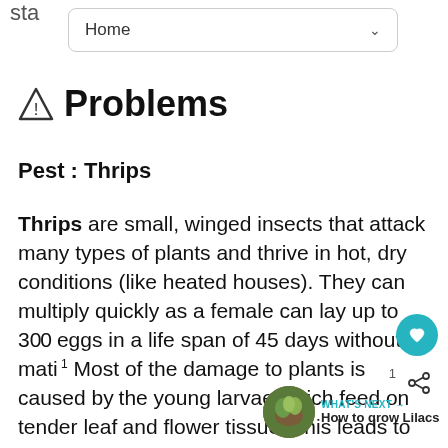sta  Home
⚠ Problems
Pest : Thrips
Thrips are small, winged insects that attack many types of plants and thrive in hot, dry conditions (like heated houses). They can multiply quickly as a female can lay up to 300 eggs in a life span of 45 days without mating. Most of the damage to plants is caused by the young larvae which feed on tender leaf and flower tissue. This leads to distorted growth, injured flower petals and premature flower drop among other things.